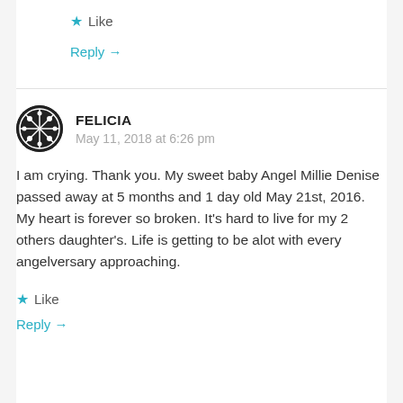Like
Reply →
FELICIA
May 11, 2018 at 6:26 pm
I am crying. Thank you. My sweet baby Angel Millie Denise passed away at 5 months and 1 day old May 21st, 2016. My heart is forever so broken. It's hard to live for my 2 others daughter's. Life is getting to be alot with every angelversary approaching.
Like
Reply →